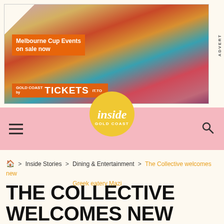[Figure (other): Advertisement banner for Gold Coast Tickets showing Melbourne Cup Events on sale now, with colorful floral background and a woman with flowers in hair. Text: Melbourne Cup Events on sale now / GOLD COAST TICKETS]
ADVERT
[Figure (logo): Inside Gold Coast logo: yellow circle with cursive 'inside' text and 'GOLD COAST' below, on a pink navigation bar with hamburger menu on left and search icon on right]
> Inside Stories > Dining & Entertainment > The Collective welcomes new Greek eatery Mazi
THE COLLECTIVE WELCOMES NEW GREEK EATERY MAZI